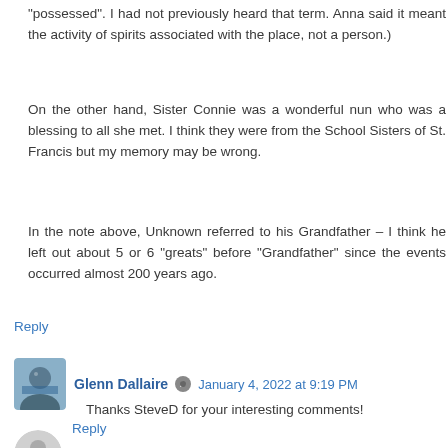"possessed". I had not previously heard that term. Anna said it meant the activity of spirits associated with the place, not a person.)
On the other hand, Sister Connie was a wonderful nun who was a blessing to all she met. I think they were from the School Sisters of St. Francis but my memory may be wrong.
In the note above, Unknown referred to his Grandfather – I think he left out about 5 or 6 “greats” before “Grandfather” since the events occurred almost 200 years ago.
Reply
Glenn Dallaire  January 4, 2022 at 9:19 PM
Thanks SteveD for your interesting comments!
Reply
Enter Comment